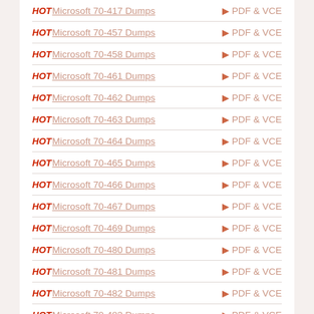HOT Microsoft 70-417 Dumps ▶ PDF & VCE
HOT Microsoft 70-457 Dumps ▶ PDF & VCE
HOT Microsoft 70-458 Dumps ▶ PDF & VCE
HOT Microsoft 70-461 Dumps ▶ PDF & VCE
HOT Microsoft 70-462 Dumps ▶ PDF & VCE
HOT Microsoft 70-463 Dumps ▶ PDF & VCE
HOT Microsoft 70-464 Dumps ▶ PDF & VCE
HOT Microsoft 70-465 Dumps ▶ PDF & VCE
HOT Microsoft 70-466 Dumps ▶ PDF & VCE
HOT Microsoft 70-467 Dumps ▶ PDF & VCE
HOT Microsoft 70-469 Dumps ▶ PDF & VCE
HOT Microsoft 70-480 Dumps ▶ PDF & VCE
HOT Microsoft 70-481 Dumps ▶ PDF & VCE
HOT Microsoft 70-482 Dumps ▶ PDF & VCE
HOT Microsoft 70-483 Dumps ▶ PDF & VCE
HOT Microsoft 70-486 Dumps ▶ PDF & VCE
HOT Microsoft 70-487 Dumps ▶ PDF & VCE
HOT Microsoft 70-488 Dumps ▶ PDF & VCE